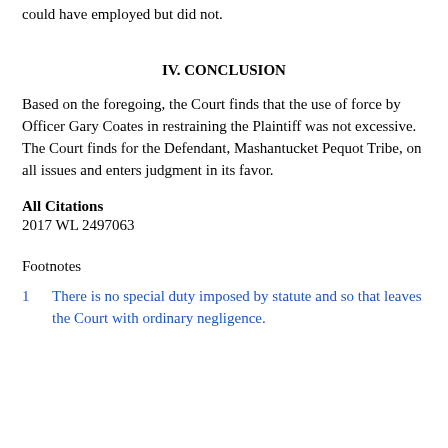could have employed but did not.
IV. CONCLUSION
Based on the foregoing, the Court finds that the use of force by Officer Gary Coates in restraining the Plaintiff was not excessive. The Court finds for the Defendant, Mashantucket Pequot Tribe, on all issues and enters judgment in its favor.
All Citations
2017 WL 2497063
Footnotes
1  There is no special duty imposed by statute and so that leaves the Court with ordinary negligence.